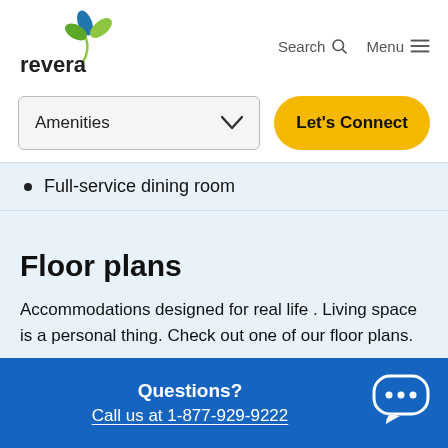[Figure (logo): Revera logo with colorful leaf/flower icon above the word revera]
Search  Menu
[Figure (screenshot): Amenities dropdown selector and Let's Connect button]
Full-service dining room
Floor plans
Accommodations designed for real life. Living space is a personal thing. Check out one of our floor plans.
Questions? Call us at 1-877-929-9222